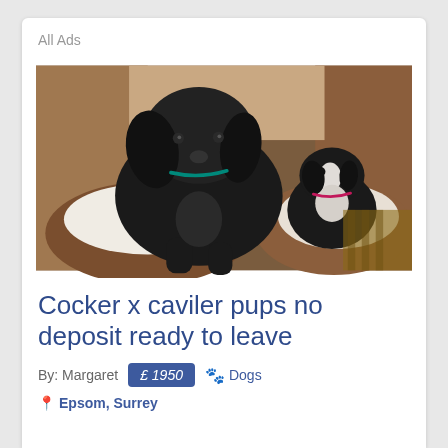All Ads
[Figure (photo): Two puppies — a large black cocker spaniel puppy standing up and a smaller black-and-white puppy sitting in a round dog bed with light-colored cushioning, both indoors near wooden furniture.]
Cocker x caviler pups no deposit ready to leave
By: Margaret  £ 1950  🐾 Dogs
📍 Epsom, Surrey